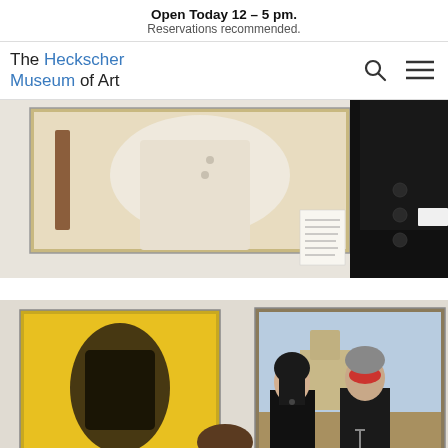Open Today 12 – 5 pm. Reservations recommended.
[Figure (logo): The Heckscher Museum of Art logo with search and menu icons]
[Figure (photo): Museum gallery photo showing a person in black coat standing next to a painting on a white wall]
[Figure (photo): Museum gallery photo showing a person standing in front of artwork including a painting reminiscent of American Gothic with two figures]